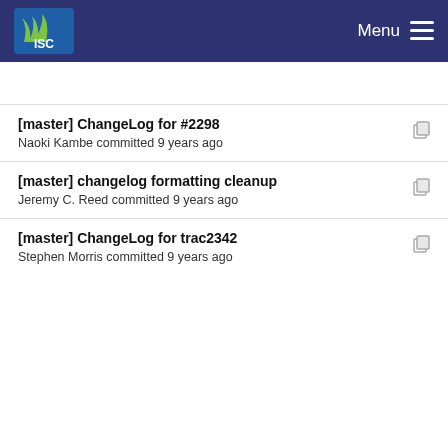ISC | Menu
[master] ChangeLog for #2298
Naoki Kambe committed 9 years ago
[master] changelog formatting cleanup
Jeremy C. Reed committed 9 years ago
[master] ChangeLog for trac2342
Stephen Morris committed 9 years ago
[master] changelog formatting cleanup
Jeremy C. Reed committed 9 years ago
Changelog for #2384